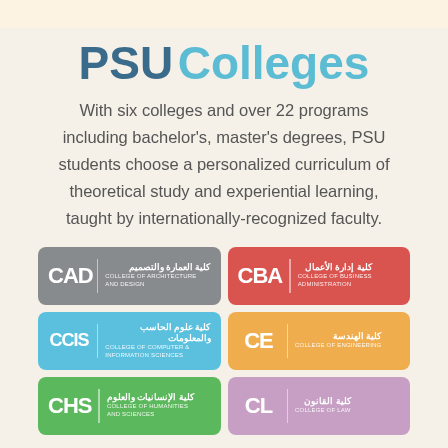PSU Colleges
With six colleges and over 22 programs including bachelor's, master's degrees, PSU students choose a personalized curriculum of theoretical study and experiential learning, taught by internationally-recognized faculty.
[Figure (infographic): Six PSU college logos arranged in a 2-column grid: CAD (College of Architecture and Design, gray), CBA (College of Business Administration, red), CCIS (College of Computer & Information Sciences, blue), CE (College of Engineering, orange), CHS (College of Humanities and Sciences, green), CL (College of Law, purple)]